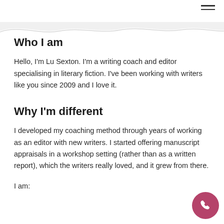Who I am
Hello, I'm Lu Sexton. I'm a writing coach and editor specialising in literary fiction. I've been working with writers like you since 2009 and I love it.
Why I'm different
I developed my coaching method through years of working as an editor with new writers. I started offering manuscript appraisals in a workshop setting (rather than as a written report), which the writers really loved, and it grew from there.
I am: